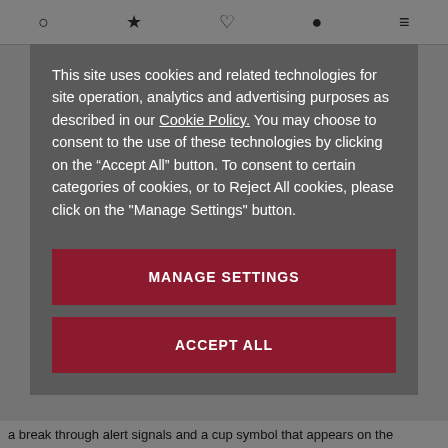[Figure (screenshot): Website navigation bar with icons: search, star/bookmark, heart/wishlist, profile, and menu.]
This site uses cookies and related technologies for site operation, analytics and advertising purposes as described in our Cookie Policy. You may choose to consent to the use of these technologies by clicking on the “Accept All” button. To consent to certain categories of cookies, or to Reject All cookies, please click on the "Manage Settings" button.
MANAGE SETTINGS
ACCEPT ALL
a break through alert signals and a cup symbol that appears on the